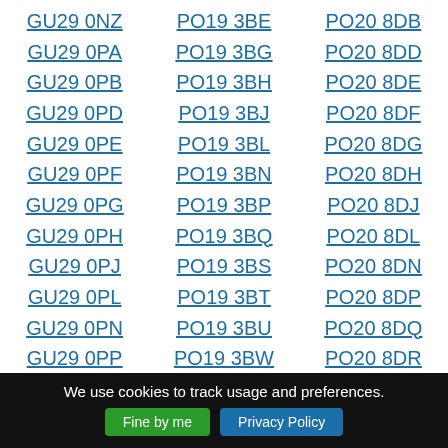GU29 0NZ | PO19 3BE | PO20 8DB
GU29 0PA | PO19 3BG | PO20 8DD
GU29 0PB | PO19 3BH | PO20 8DE
GU29 0PD | PO19 3BJ | PO20 8DF
GU29 0PE | PO19 3BL | PO20 8DG
GU29 0PF | PO19 3BN | PO20 8DH
GU29 0PG | PO19 3BP | PO20 8DJ
GU29 0PH | PO19 3BQ | PO20 8DL
GU29 0PJ | PO19 3BS | PO20 8DN
GU29 0PL | PO19 3BT | PO20 8DP
GU29 0PN | PO19 3BU | PO20 8DQ
GU29 0PP | PO19 3BW | PO20 8DR
We use cookies to track usage and preferences. Fine by me  Privacy Policy